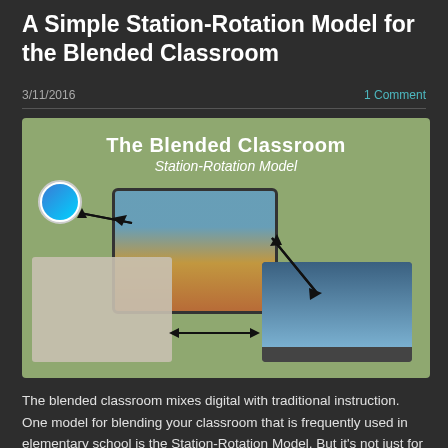A Simple Station-Rotation Model for the Blended Classroom
3/11/2016
1 Comment
[Figure (illustration): Infographic titled 'The Blended Classroom Station-Rotation Model' showing a tablet device in the center with arrows connecting to a paper-based activity station (students working with cards/papers) and a laptop station (students using laptop computers), arranged in a triangle with bidirectional arrows indicating rotation.]
The blended classroom mixes digital with traditional instruction. One model for blending your classroom that is frequently used in elementary school is the Station-Rotation Model. But it's not just for elementary school. Learn about my simple 3-3-3 (3 groups, 3